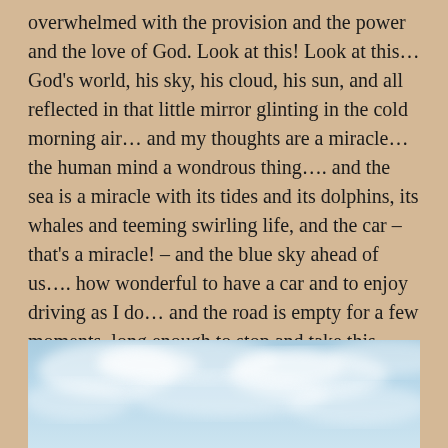overwhelmed with the provision and the power and the love of God. Look at this! Look at this… God's world, his sky, his cloud, his sun, and all reflected in that little mirror glinting in the cold morning air… and my thoughts are a miracle… the human mind a wondrous thing…. and the sea is a miracle with its tides and its dolphins, its whales and teeming swirling life, and the car – that's a miracle! – and the blue sky ahead of us…. how wonderful to have a car and to enjoy driving as I do… and the road is empty for a few moments, long enough to stop and take this… and share it with you.
[Figure (photo): A blue sky with soft white clouds, partially cropped at the bottom of the page.]